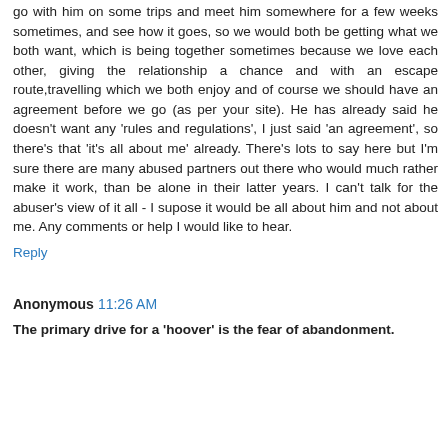go with him on some trips and meet him somewhere for a few weeks sometimes, and see how it goes, so we would both be getting what we both want, which is being together sometimes because we love each other, giving the relationship a chance and with an escape route,travelling which we both enjoy and of course we should have an agreement before we go (as per your site). He has already said he doesn't want any 'rules and regulations', I just said 'an agreement', so there's that 'it's all about me' already. There's lots to say here but I'm sure there are many abused partners out there who would much rather make it work, than be alone in their latter years. I can't talk for the abuser's view of it all - I supose it would be all about him and not about me. Any comments or help I would like to hear.
Reply
Anonymous 11:26 AM
The primary drive for a 'hoover' is the fear of abandonment.